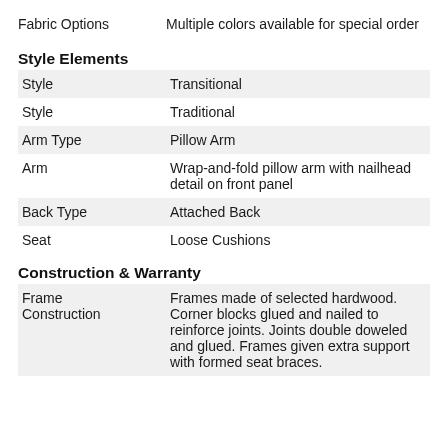Fabric Options — Multiple colors available for special order
Style Elements
| Attribute | Value |
| --- | --- |
| Style | Transitional |
| Style | Traditional |
| Arm Type | Pillow Arm |
| Arm | Wrap-and-fold pillow arm with nailhead detail on front panel |
| Back Type | Attached Back |
| Seat | Loose Cushions |
Construction & Warranty
| Attribute | Value |
| --- | --- |
| Frame Construction | Frames made of selected hardwood. Corner blocks glued and nailed to reinforce joints. Joints double doweled and glued. Frames given extra support with formed seat braces. |